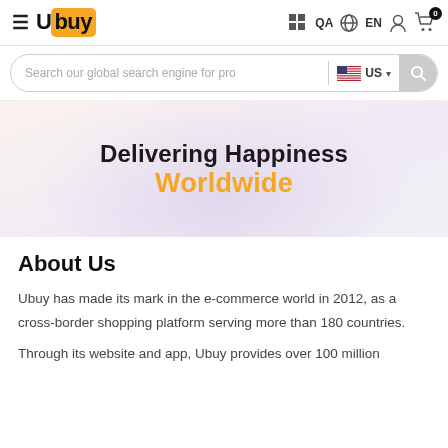[Figure (screenshot): Ubuy e-commerce website header with logo, navigation icons (QA, EN, user, cart), search bar with US flag country selector, hero banner with 'Delivering Happiness Worldwide' tagline, and About Us section.]
Delivering Happiness Worldwide
About Us
Ubuy has made its mark in the e-commerce world in 2012, as a cross-border shopping platform serving more than 180 countries.
Through its website and app, Ubuy provides over 100 million